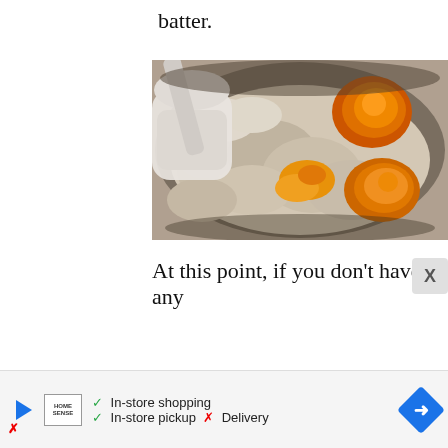batter.
[Figure (photo): Close-up photo of eggs being mixed into a pale batter in a bowl, with orange egg yolks visible against the lumpy white/grey batter, a hand holding a utensil visible at left.]
At this point, if you don't have any
[Figure (other): Advertisement banner for Home Sense showing in-store shopping, in-store pickup with checkmarks, and Delivery with an X mark, with a blue diamond arrow navigation icon.]